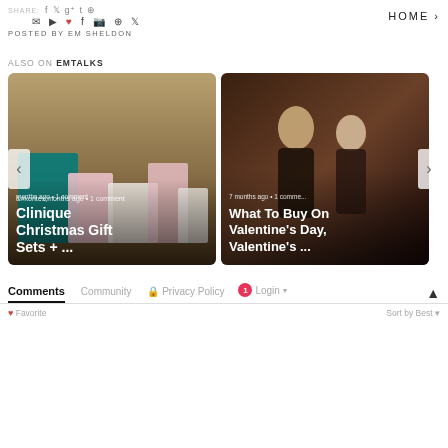SHARE: f t g+ t p  [icons row]  HOME
POSTED BY EM SHELDON
ALSO ON EMTALKS
[Figure (photo): Two blog post preview cards side by side. Left card: Clinique Christmas Gift Sets + ... (7 months ago · 1 comment). Right card: What To Buy On Valentine's Day, Valentine's ... (7 months ago · 1 comment). Navigation arrows on left and right edges.]
Comments  Community  Privacy Policy  1  Login  Sort by Best